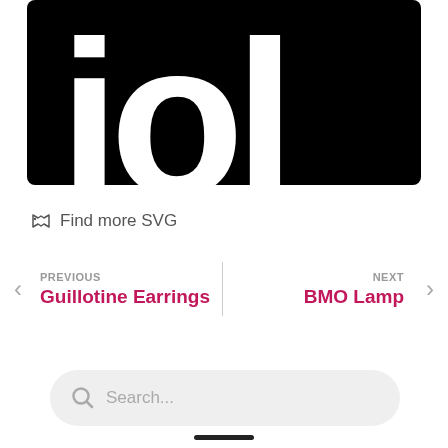[Figure (screenshot): Black background with large white stylized text characters partially visible at top of page]
Find more SVG
PREVIOUS
Guillotine Earrings
NEXT
BMO Lamp
[Figure (other): Search input box with placeholder text 'Search...' and a search icon (magnifying glass) on a light gray rounded pill background]